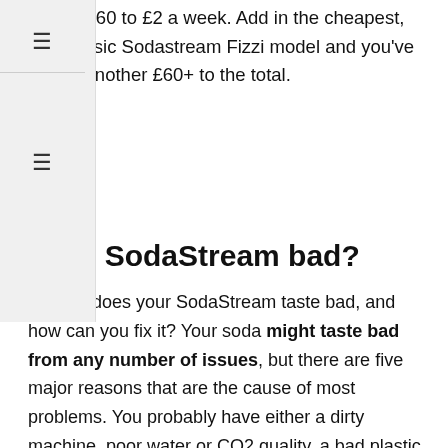from £1.60 to £2 a week. Add in the cheapest, most basic Sodastream Fizzi model and you've added another £60+ to the total.
Why is SodaStream bad?
So why does your SodaStream taste bad, and how can you fix it? Your soda might taste bad from any number of issues, but there are five major reasons that are the cause of most problems. You probably have either a dirty machine, poor water or CO2 quality, a bad plastic bottle, or bad or expired flavorings.
What SodaStream is best?
The Best Soda Maker